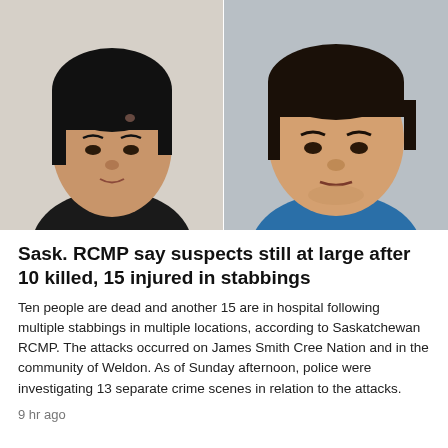[Figure (photo): Two mugshot-style photos side by side. Left: a younger man with dark hair and a dark shirt against a light wall. Right: an older man in a blue shirt with a neutral background.]
Sask. RCMP say suspects still at large after 10 killed, 15 injured in stabbings
Ten people are dead and another 15 are in hospital following multiple stabbings in multiple locations, according to Saskatchewan RCMP. The attacks occurred on James Smith Cree Nation and in the community of Weldon. As of Sunday afternoon, police were investigating 13 separate crime scenes in relation to the attacks.
9 hr ago